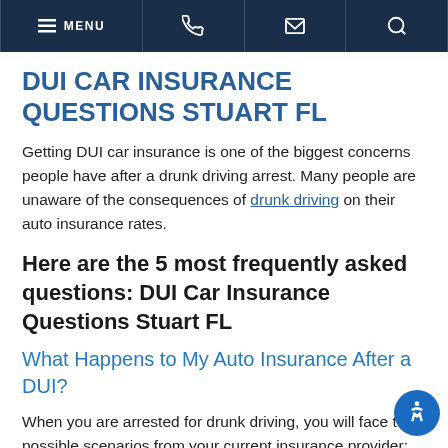MENU [phone] [email] [search]
DUI CAR INSURANCE QUESTIONS STUART FL
Getting DUI car insurance is one of the biggest concerns people have after a drunk driving arrest. Many people are unaware of the consequences of drunk driving on their auto insurance rates.
Here are the 5 most frequently asked questions: DUI Car Insurance Questions Stuart FL
What Happens to My Auto Insurance After a DUI?
When you are arrested for drunk driving, you will face two possible scenarios from your current insurance provider: